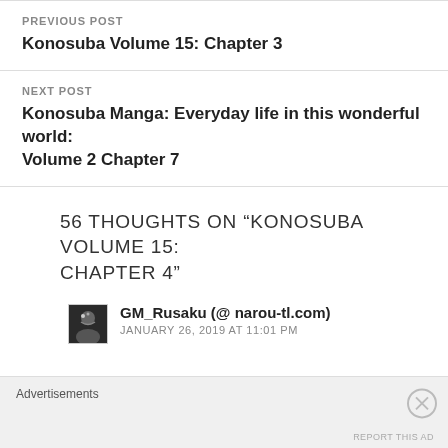PREVIOUS POST
Konosuba Volume 15: Chapter 3
NEXT POST
Konosuba Manga: Everyday life in this wonderful world: Volume 2 Chapter 7
56 THOUGHTS ON “KONOSUBA VOLUME 15: CHAPTER 4”
GM_Rusaku (@ narou-tl.com)
JANUARY 26, 2019 AT 11:01 PM
Advertisements